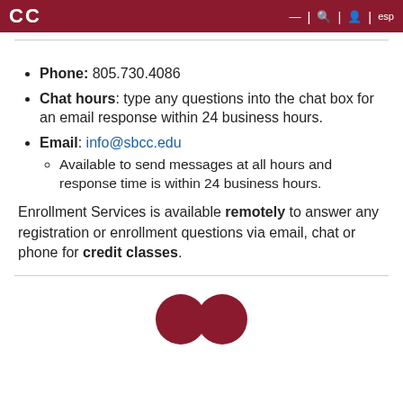CC
Phone: 805.730.4086
Chat hours: type any questions into the chat box for an email response within 24 business hours.
Email: info@sbcc.edu
Available to send messages at all hours and response time is within 24 business hours.
Enrollment Services is available remotely to answer any registration or enrollment questions via email, chat or phone for credit classes.
[Figure (other): Two overlapping dark red circles at bottom of page]